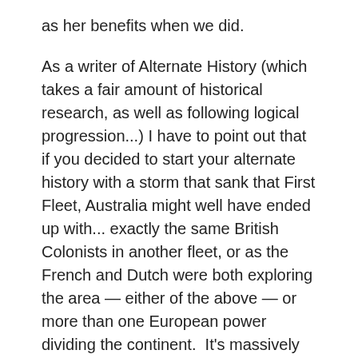as her benefits when we did.
As a writer of Alternate History (which takes a fair amount of historical research, as well as following logical progression...) I have to point out that if you decided to start your alternate history with a storm that sank that First Fleet, Australia might well have ended up with... exactly the same British Colonists in another fleet, or as the French and Dutch were both exploring the area — either of the above — or more than one European power dividing the continent.  It's massively unlikely that none of them would have settled and conquered.  I suggest those who think this might have been better study the colonial history of these nations.